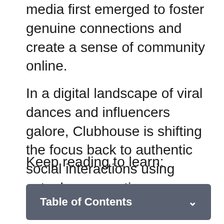media first emerged to foster genuine connections and create a sense of community online.
In a digital landscape of viral dances and influencers galore, Clubhouse is shifting the focus back to authentic social interactions using actual conversations.
Keep reading to learn:
Table of Contents